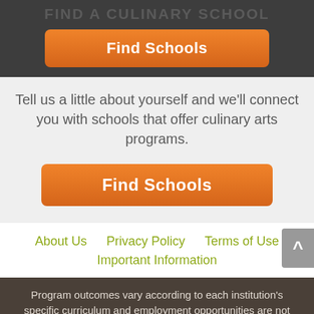FIND A CULINARY SCHOOL
[Figure (screenshot): Orange 'Find Schools' button]
Tell us a little about yourself and we'll connect you with schools that offer culinary arts programs.
[Figure (screenshot): Orange 'Find Schools' button (second instance)]
About Us
Privacy Policy
Terms of Use
Important Information
Program outcomes vary according to each institution's specific curriculum and employment opportunities are not guaranteed.